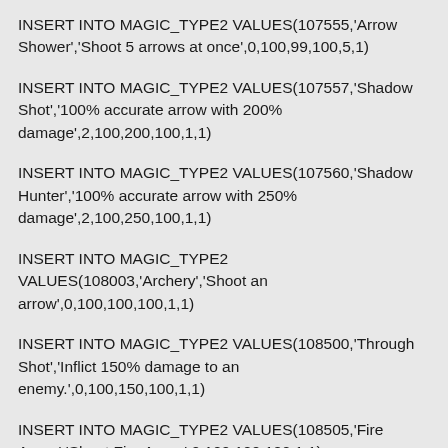INSERT INTO MAGIC_TYPE2 VALUES(107555,'Arrow Shower','Shoot 5 arrows at once',0,100,99,100,5,1)
INSERT INTO MAGIC_TYPE2 VALUES(107557,'Shadow Shot','100% accurate arrow with 200% damage',2,100,200,100,1,1)
INSERT INTO MAGIC_TYPE2 VALUES(107560,'Shadow Hunter','100% accurate arrow with 250% damage',2,100,250,100,1,1)
INSERT INTO MAGIC_TYPE2 VALUES(108003,'Archery','Shoot an arrow',0,100,100,100,1,1)
INSERT INTO MAGIC_TYPE2 VALUES(108500,'Through Shot','Inflict 150% damage to an enemy.',0,100,150,100,1,1)
INSERT INTO MAGIC_TYPE2 VALUES(108505,'Fire Arrow','Shoot Fire Arrow',0,100,100,100,1,1)
INSERT INTO MAGIC_TYPE2 VALUES(108510,'Poison